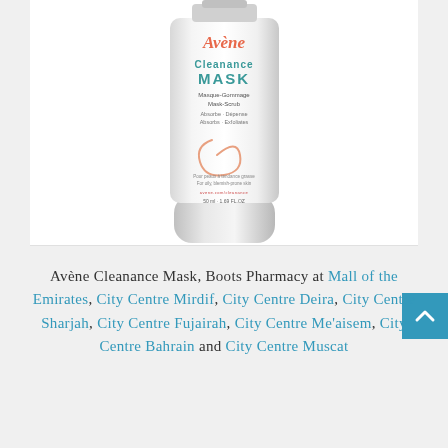[Figure (photo): Avène Cleanance MASK tube product shot on white background. White squeeze tube with teal 'Cleanance MASK' text, orange 'Avène' brand name, and peach swirl illustration. Label reads Masque-Gommage / Mask-Scrub, Absorbe-Dépense / Absorbs-Exfoliates, 50ml/1.69 FL.OZ.]
Avène Cleanance Mask, Boots Pharmacy at Mall of the Emirates, City Centre Mirdif, City Centre Deira, City Centre Sharjah, City Centre Fujairah, City Centre Me'aisem, City Centre Bahrain and City Centre Muscat